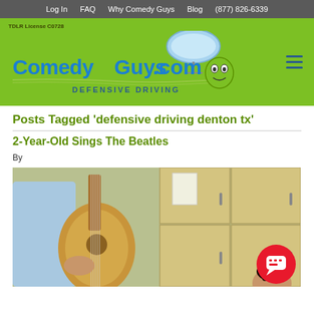Log In  FAQ  Why Comedy Guys  Blog  (877) 826-6339
[Figure (logo): ComedyGuys.com Defensive Driving logo on green background with rearview mirror graphic and cartoon face mascot. TDLR License C0728]
Posts Tagged ‘defensive driving denton tx’
2-Year-Old Sings The Beatles
By
[Figure (photo): Photo of a man playing acoustic guitar while a young child watches, in what appears to be a room with wooden cabinets. A red chat button is visible in the bottom right corner.]